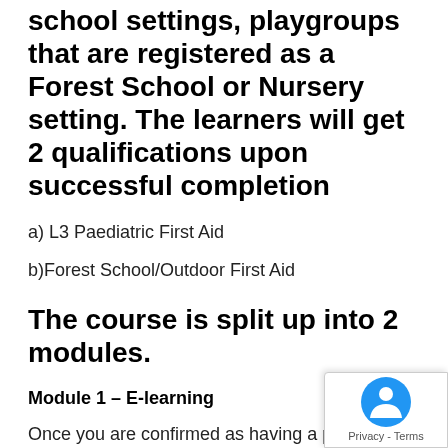school settings, playgroups that are registered as a Forest School or Nursery setting. The learners will get 2 qualifications upon successful completion
a) L3 Paediatric First Aid
b)Forest School/Outdoor First Aid
The course is split up into 2 modules.
Module 1 – E-learning
Once you are confirmed as having a place on the course you will be sent a link to register to complete the e-learning section.  This is split into 9 modules can be completed over several sessions if required